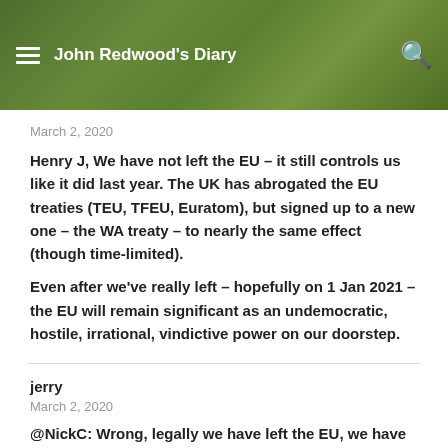John Redwood's Diary
March 2, 2020
Henry J, We have not left the EU – it still controls us like it did last year. The UK has abrogated the EU treaties (TEU, TFEU, Euratom), but signed up to a new one – the WA treaty – to nearly the same effect (though time-limited).
Even after we've really left – hopefully on 1 Jan 2021 – the EU will remain significant as an undemocratic, hostile, irrational, vindictive power on our doorstep.
jerry
March 2, 2020
@NickC: Wrong, legally we have left the EU, we have simply